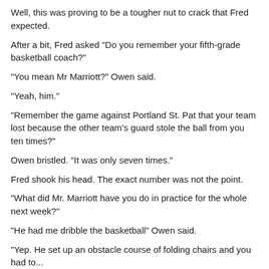Well, this was proving to be a tougher nut to crack that Fred expected.
After a bit, Fred asked "Do you remember your fifth-grade basketball coach?"
"You mean Mr Marriott?" Owen said.
"Yeah, him."
"Remember the game against Portland St. Pat that your team lost because the other team's guard stole the ball from you ten times?"
Owen bristled. "It was only seven times."
Fred shook his head. The exact number was not the point.
"What did Mr. Marriott have you do in practice for the whole next week?"
"He had me dribble the basketball" Owen said.
"Yep. He set up an obstacle course of folding chairs and you had to...